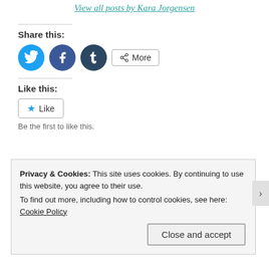View all posts by Kara Jorgensen
Share this:
[Figure (screenshot): Social sharing buttons: Twitter (blue circle), Facebook (blue circle), Tumblr (dark circle), and a More button]
Like this:
[Figure (screenshot): Like button with star icon]
Be the first to like this.
[Figure (other): Decorative dashed divider line with three circle icons in the center]
Privacy & Cookies: This site uses cookies. By continuing to use this website, you agree to their use.
To find out more, including how to control cookies, see here: Cookie Policy
Close and accept